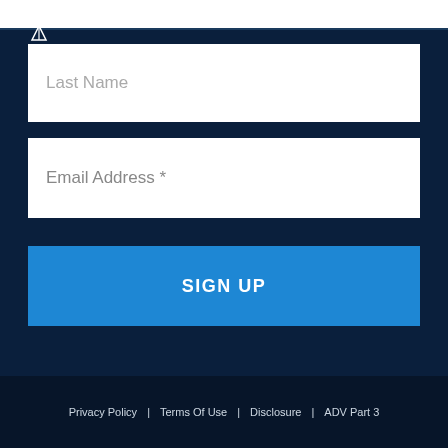[Figure (logo): Small white sailboat/anchor logo icon partially visible at top left]
Last Name
Email Address *
SIGN UP
Privacy Policy  |  Terms Of Use  |  Disclosure  |  ADV Part 3